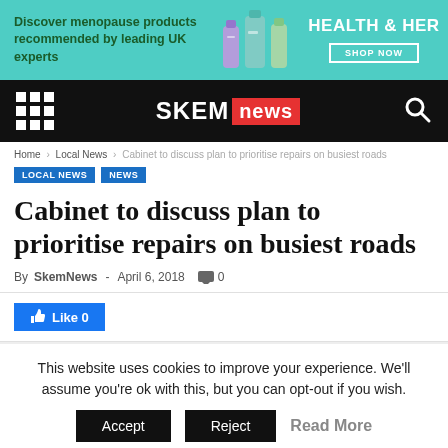[Figure (illustration): Advertisement banner for Health & Her menopause products with teal background, product bottles, brand logo and Shop Now button]
SKEM news
Home › Local News › Cabinet to discuss plan to prioritise repairs on busiest roads
LOCAL NEWS  NEWS
Cabinet to discuss plan to prioritise repairs on busiest roads
By SkemNews - April 6, 2018  0
Like 0
This website uses cookies to improve your experience. We'll assume you're ok with this, but you can opt-out if you wish. Accept  Reject  Read More